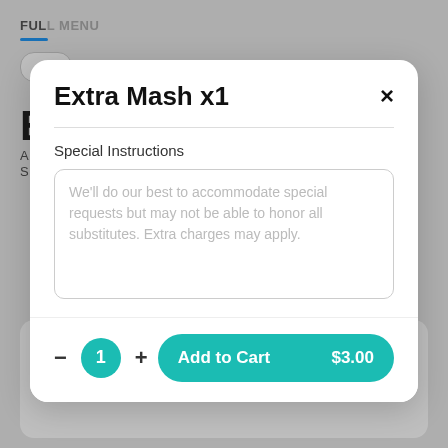[Figure (screenshot): Mobile app background showing a restaurant menu page with a blue underline nav indicator, partial menu item cards, and a '2 PORK CHOPS BREAKFAST FAVE' card at the bottom.]
Extra Mash x1
Special Instructions
We'll do our best to accommodate special requests but may not be able to honor all substitutes. Extra charges may apply.
1
Add to Cart   $3.00
2 PORK CHOPS BREAKFAST FAVE
$13.00